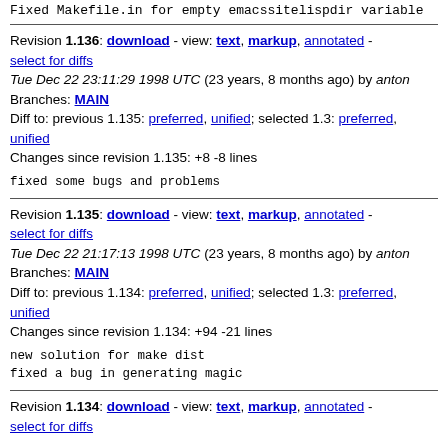Fixed Makefile.in for empty emacssitelispdir variable
Revision 1.136: download - view: text, markup, annotated - select for diffs
Tue Dec 22 23:11:29 1998 UTC (23 years, 8 months ago) by anton
Branches: MAIN
Diff to: previous 1.135: preferred, unified; selected 1.3: preferred, unified
Changes since revision 1.135: +8 -8 lines
fixed some bugs and problems
Revision 1.135: download - view: text, markup, annotated - select for diffs
Tue Dec 22 21:17:13 1998 UTC (23 years, 8 months ago) by anton
Branches: MAIN
Diff to: previous 1.134: preferred, unified; selected 1.3: preferred, unified
Changes since revision 1.134: +94 -21 lines
new solution for make dist
fixed a bug in generating magic
Revision 1.134: download - view: text, markup, annotated - select for diffs
select for diffs